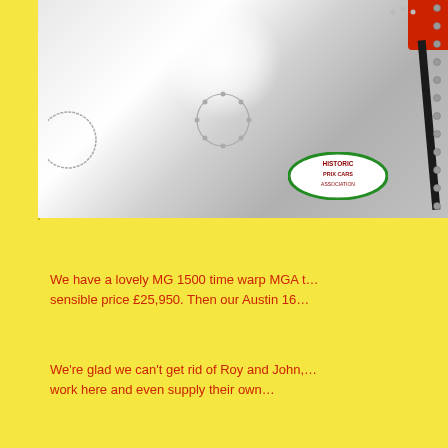[Figure (photo): Close-up photo of a silver/aluminium car body panel (likely an MGA racing car) showing rivets along the right edge, access hatches, a bright specular highlight from sunlight, a red component visible at top right, a black windscreen or roll bar, and an oval decal reading 'Historic Prix Cars Association' at bottom right.]
We have a lovely MG 1500 time warp MGA t… sensible price £25,950. Then our Austin 16…
We're glad we can't get rid of Roy and John,… work here and even supply their own…